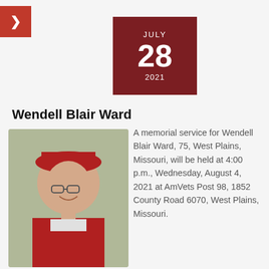Wendell Blair Ward
[Figure (other): Date block showing JULY 28 2021 on dark red background]
[Figure (photo): Photo of an elderly man wearing a red Marine Corps cover (hat) and red shirt, smiling, outdoors]
A memorial service for Wendell Blair Ward, 75, West Plains, Missouri, will be held at 4:00 p.m., Wednesday, August 4, 2021 at AmVets Post 98, 1852 County Road 6070, West Plains, Missouri.